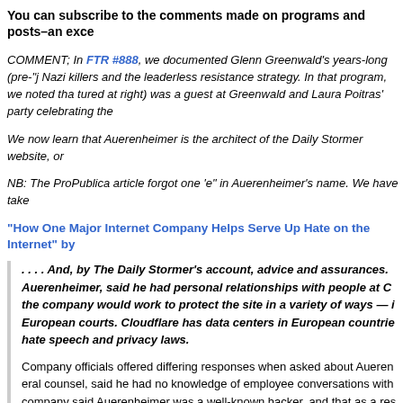You can subscribe to the comments made on programs and posts–an exce
COMMENT; In FTR #888, we documented Glenn Greenwald's years-long (pre-"j Nazi killers and the leaderless resistance strategy. In that program, we noted tha tured at right) was a guest at Greenwald and Laura Poitras' party celebrating the
We now learn that Auerenheimer is the architect of the Daily Stormer website, or
NB: The ProPublica article forgot one 'e" in Auerenheimer's name. We have take
"How One Major Internet Company Helps Serve Up Hate on the Internet" by
. . . . And, by The Daily Stormer's account, advice and assurances. Auerenheimer, said he had personal relationships with people at C the company would work to protect the site in a variety of ways — i European courts. Cloudflare has data centers in European countrie hate speech and privacy laws.
Company officials offered differing responses when asked about Aueren eral counsel, said he had no knowledge of employee conversations with company said Auerenheimer was a well-known hacker, and that as a res "has chatted with him on occasion and has spoken to him about Cloudfla net."
A former Cloudflare employee, Ryan Lackey, said in an interview that wh Auerenheimer does, he did on occasion give technical advice as a frie